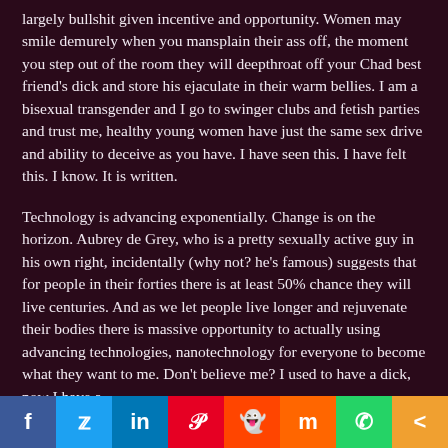largely bullshit given incentive and opportunity. Women may smile demurely when you mansplain their ass off, the moment you step out of the room they will deepthroat off your Chad best friend's dick and store his ejaculate in their warm bellies. I am a bisexual transgender and I go to swinger clubs and fetish parties and trust me, healthy young women have just the same sex drive and ability to deceive as you have. I have seen this. I have felt this. I know. It is written.
Technology is advancing exponentially. Change is on the horizon. Aubrey de Grey, who is a pretty sexually active guy in his own right, incidentally (why not? he's famous) suggests that for people in their forties there is at least 50% chance they will live centuries. And as we let people live longer and rejuvenate their bodies there is massive opportunity to actually using advancing technologies, nanotechnology for everyone to become what they want to me. Don't believe me? I used to have a dick, now I have a